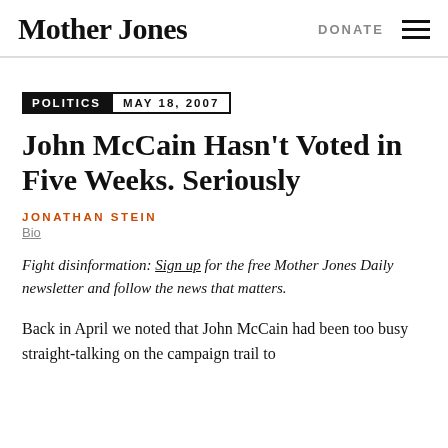Mother Jones | DONATE
POLITICS  MAY 18, 2007
John McCain Hasn’t Voted in Five Weeks. Seriously
JONATHAN STEIN
Bio
Fight disinformation: Sign up for the free Mother Jones Daily newsletter and follow the news that matters.
Back in April we noted that John McCain had been too busy straight-talking on the campaign trail to